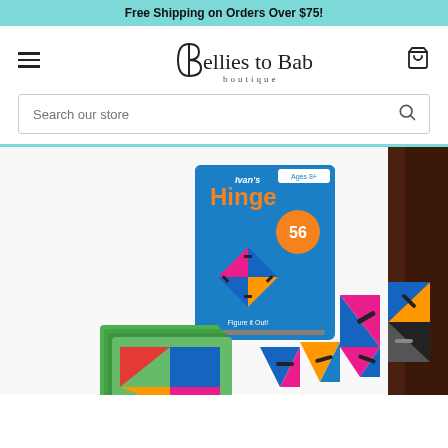Free Shipping on Orders Over $75!
[Figure (logo): Bellies to Babies Boutique logo with stylized B icon and boutique subtitle]
Search our store
[Figure (photo): Ivan's Hinge puzzle game product photo showing the game box and unfolded colorful geometric puzzle pieces in blue, pink, orange and black on a white surface, with green challenge cards numbered 27, and additional shape cards]